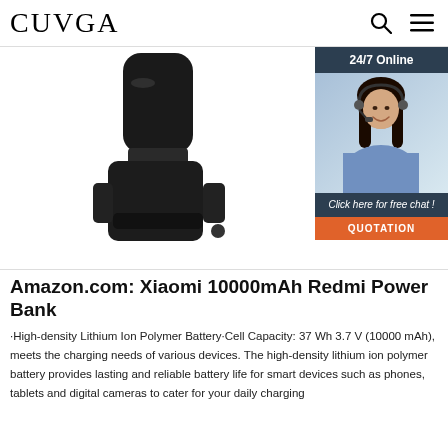CUVGA
[Figure (photo): Product photo of a black battery/power bank device on white background, with a '24/7 Online' customer service advertisement sidebar showing a woman with a headset, and a 'Click here for free chat! QUOTATION' button]
Amazon.com: Xiaomi 10000mAh Redmi Power Bank
·High-density Lithium Ion Polymer Battery·Cell Capacity: 37 Wh 3.7 V (10000 mAh), meets the charging needs of various devices. The high-density lithium ion polymer battery provides lasting and reliable battery life for smart devices such as phones, tablets and digital cameras to cater for your daily charging